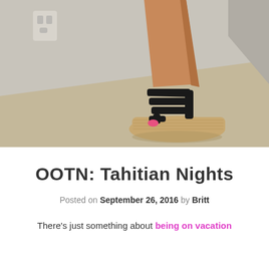[Figure (photo): Close-up photo of a woman's leg and foot wearing a black strappy wedge sandal with espadrille-style platform sole, photographed on a beige carpeted floor against a white wall with a power outlet visible in the upper left.]
OOTN: Tahitian Nights
Posted on September 26, 2016 by Britt
There's just something about being on vacation